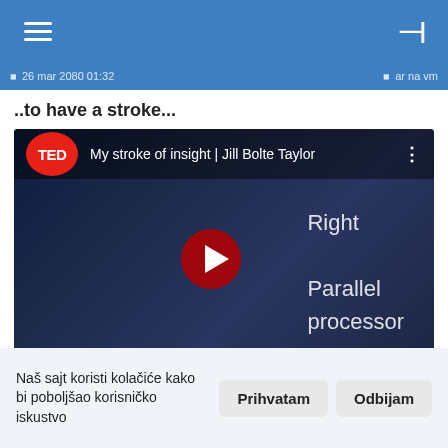≡  —|
26 mar 2080 01:32  |ar na vm
..to have a stroke...
[Figure (screenshot): YouTube video thumbnail for TED talk 'My stroke of insight | Jill Bolte Taylor'. Shows a woman holding a brain model on a dark stage. Right side shows text 'Right Parallel processor'. A red play button is centered. Top bar shows TED logo and video title.]
Naš sajt koristi kolačiće kako bi poboljšao korisničko iskustvo
Prihvatam
Odbijam